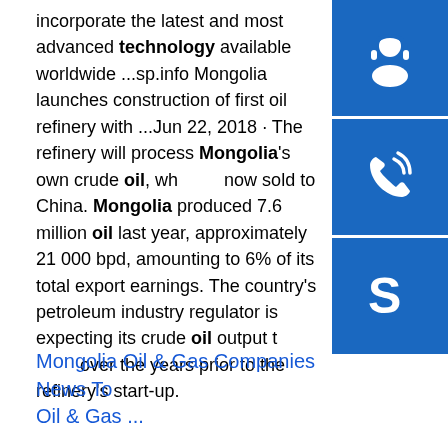incorporate the latest and most advanced technology available worldwide ...sp.info Mongolia launches construction of first oil refinery with ...Jun 22, 2018 · The refinery will process Mongolia's own crude oil, which is now sold to China. Mongolia produced 7.6 million barrels of oil last year, approximately 21 000 bpd, amounting to 6% of its total export earnings. The country's petroleum industry regulator is expecting its crude oil output to grow over the years prior to the refinery's start-up.
[Figure (other): Headset/support icon on blue background]
[Figure (other): Phone/call icon on blue background]
[Figure (other): Skype icon on blue background]
Mongolia Oil & Gas Companies News To... Oil & Gas ...
[Figure (photo): Industrial oil refinery facility with storage tanks and chimney stacks]
Aug 18, 2021 · Mongolia Cepsa News ( search ) Mongolia Chesapeake Energy News ( search ) Mongolia Chevron News ( search ) Mongolia China National Petroleum